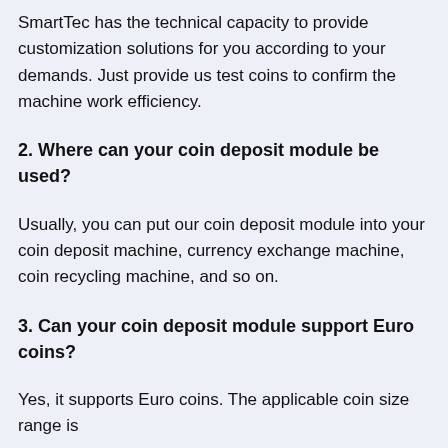SmartTec has the technical capacity to provide customization solutions for you according to your demands. Just provide us test coins to confirm the machine work efficiency.
2. Where can your coin deposit module be used?
Usually, you can put our coin deposit module into your coin deposit machine, currency exchange machine, coin recycling machine, and so on.
3. Can your coin deposit module support Euro coins?
Yes, it supports Euro coins. The applicable coin size range is